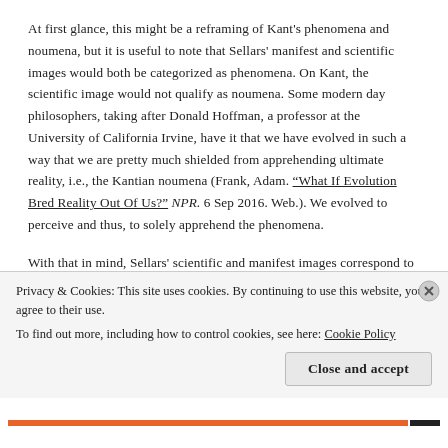At first glance, this might be a reframing of Kant's phenomena and noumena, but it is useful to note that Sellars' manifest and scientific images would both be categorized as phenomena. On Kant, the scientific image would not qualify as noumena. Some modern day philosophers, taking after Donald Hoffman, a professor at the University of California Irvine, have it that we have evolved in such a way that we are pretty much shielded from apprehending ultimate reality, i.e., the Kantian noumena (Frank, Adam. "What If Evolution Bred Reality Out Of Us?" NPR. 6 Sep 2016. Web.). We evolved to perceive and thus, to solely apprehend the phenomena.
With that in mind, Sellars' scientific and manifest images correspond to the Kantian phenomena. Yet there appears to be an irreconcilable contradiction between them. On the manifest image, a Rubik's cube...
Privacy & Cookies: This site uses cookies. By continuing to use this website, you agree to their use.
To find out more, including how to control cookies, see here: Cookie Policy